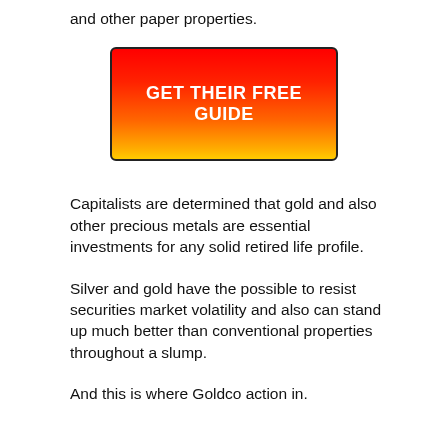and other paper properties.
[Figure (other): Red to yellow/orange gradient button with text GET THEIR FREE GUIDE in bold white uppercase letters]
Capitalists are determined that gold and also other precious metals are essential investments for any solid retired life profile.
Silver and gold have the possible to resist securities market volatility and also can stand up much better than conventional properties throughout a slump.
And this is where Goldco action in.